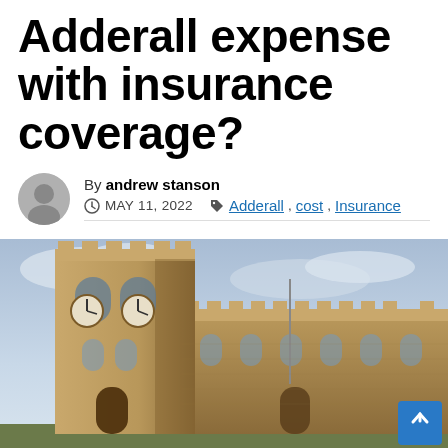Adderall expense with insurance coverage?
By andrew stanson — MAY 11, 2022 — Tags: Adderall, cost, Insurance
[Figure (photo): Photograph of a historic stone church with a clock tower, battlements, and a large nave, under a cloudy sky.]